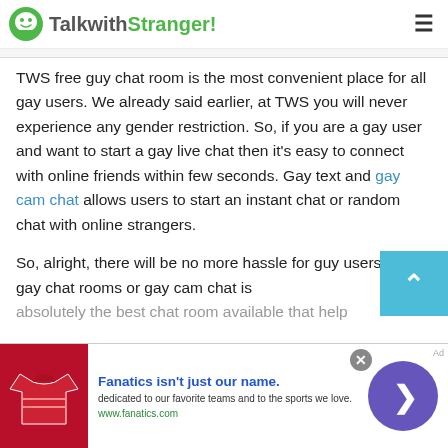TalkwithStranger!
TWS free guy chat room is the most convenient place for all gay users. We already said earlier, at TWS you will never experience any gender restriction. So, if you are a gay user and want to start a gay live chat then it's easy to connect with online friends within few seconds. Gay text and gay cam chat allows users to start an instant chat or random chat with online strangers.
So, alright, there will be no more hassle for guy users. Free gay chat rooms or gay cam chat is absolutely the best chat room available that help
[Figure (other): Fanatics advertisement banner with shirt image and purple arrow button. Text reads: Fanatics isn't just our name. dedicated to our favorite teams and to the sports we love. www.fanatics.com]